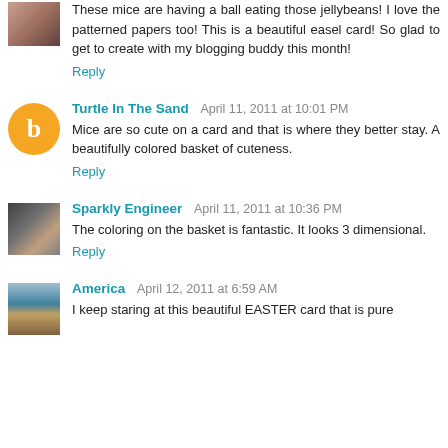These mice are having a ball eating those jellybeans! I love the patterned papers too! This is a beautiful easel card! So glad to get to create with my blogging buddy this month!
Reply
Turtle In The Sand  April 11, 2011 at 10:01 PM
Mice are so cute on a card and that is where they better stay. A beautifully colored basket of cuteness.
Reply
Sparkly Engineer  April 11, 2011 at 10:36 PM
The coloring on the basket is fantastic. It looks 3 dimensional.
Reply
America  April 12, 2011 at 6:59 AM
I keep staring at this beautiful EASTER card that is pure